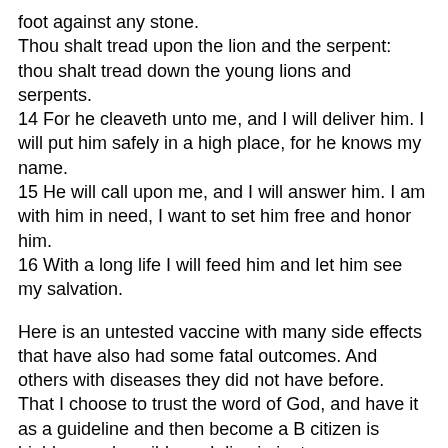foot against any stone.
Thou shalt tread upon the lion and the serpent: thou shalt tread down the young lions and serpents.
14 For he cleaveth unto me, and I will deliver him. I will put him safely in a high place, for he knows my name.
15 He will call upon me, and I will answer him. I am with him in need, I want to set him free and honor him.
16 With a long life I will feed him and let him see my salvation.
Here is an untested vaccine with many side effects that have also had some fatal outcomes. And others with diseases they did not have before.
That I choose to trust the word of God, and have it as a guideline and then become a B citizen is highly reprehensible and discriminatory.
The only remedy here is to drop the discrimination and discrimination that I as a Christian become a B citizen by trusting in God's word and promises.
And that vaccinated people should be A citizens, is nothing but discrimination.